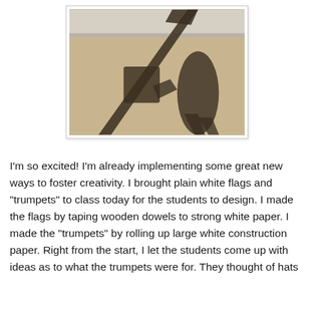[Figure (photo): A photograph showing a shadow cast on sandy/gravelly ground. The shadow appears to be of a person holding a flag or sign on a stick. There is a concrete curb or edge visible at the top of the image. The shadow is dark against the light tan ground texture.]
I'm so excited! I'm already implementing some great new ways to foster creativity. I brought plain white flags and "trumpets" to class today for the students to design. I made the flags by taping wooden dowels to strong white paper. I made the "trumpets" by rolling up large white construction paper. Right from the start, I let the students come up with ideas as to what the trumpets were for. They thought of hats